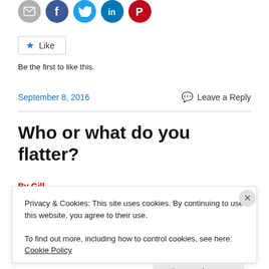[Figure (other): Social share icons: email (gray), Facebook (blue), Twitter (light blue), LinkedIn (dark blue), Pinterest (red)]
[Figure (other): Like button with star icon]
Be the first to like this.
September 8, 2016
Leave a Reply
Who or what do you flatter?
Privacy & Cookies: This site uses cookies. By continuing to use this website, you agree to their use.
To find out more, including how to control cookies, see here: Cookie Policy
Close and accept